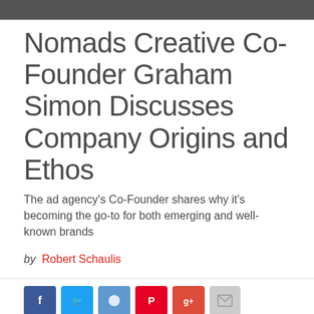[Figure (photo): Top dark image strip showing partial photo]
Nomads Creative Co-Founder Graham Simon Discusses Company Origins and Ethos
The ad agency's Co-Founder shares why it's becoming the go-to for both emerging and well-known brands
by Robert Schaulis
[Figure (other): Social sharing buttons: Facebook, Twitter, Reddit, Pinterest, Google+, Email]